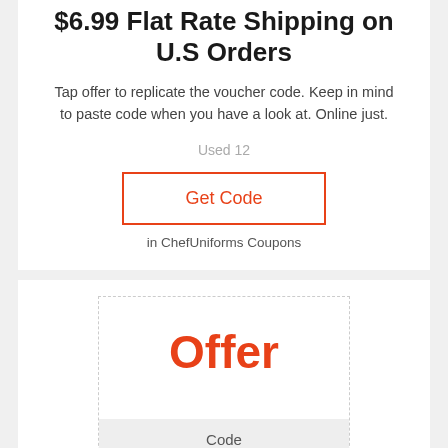$6.99 Flat Rate Shipping on U.S Orders
Tap offer to replicate the voucher code. Keep in mind to paste code when you have a look at. Online just.
Used 12
Get Code
in ChefUniforms Coupons
[Figure (other): Coupon offer box with 'Offer' text in red and 'Code' label at the bottom on a grey background]
Sale! Chef Coats as Low as $9.99 + Pants Starting at $12.99 & Aprons